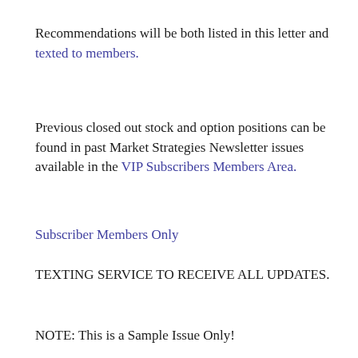Recommendations will be both listed in this letter and texted to members.
Previous closed out stock and option positions can be found in past Market Strategies Newsletter issues available in the VIP Subscribers Members Area.
Subscriber Members Only
TEXTING SERVICE TO RECEIVE ALL UPDATES.
NOTE: This is a Sample Issue Only!